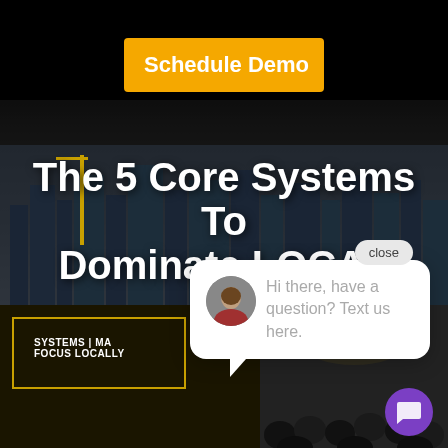[Figure (screenshot): Dark top bar background]
Schedule Demo
The 5 Core Systems To Dominate LOCAL
[Figure (screenshot): Video thumbnail showing SYSTEMS | MA... FOCUS LOCALLY... text with gold border on dark background and audience photo]
close
Hi there, have a question? Text us here.